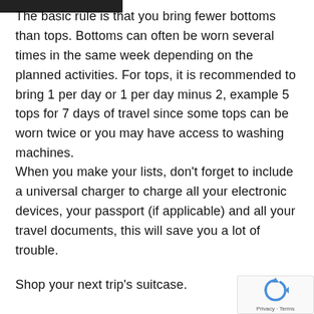The basic rule is that you bring fewer bottoms than tops. Bottoms can often be worn several times in the same week depending on the planned activities. For tops, it is recommended to bring 1 per day or 1 per day minus 2, example 5 tops for 7 days of travel since some tops can be worn twice or you may have access to washing machines.
When you make your lists, don't forget to include a universal charger to charge all your electronic devices, your passport (if applicable) and all your travel documents, this will save you a lot of trouble.
Shop your next trip's suitcase.
[Figure (other): reCAPTCHA widget with rotating arrows icon and Privacy - Terms text]